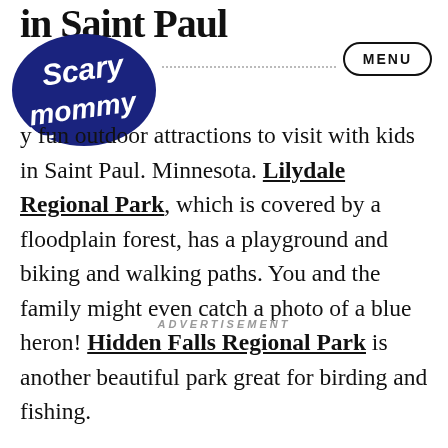in Saint Paul
[Figure (logo): Scary Mommy logo - dark blue circular badge with cursive text]
y fun outdoor attractions to visit with kids in Saint Paul. Minnesota. Lilydale Regional Park, which is covered by a floodplain forest, has a playground and biking and walking paths. You and the family might even catch a photo of a blue heron! Hidden Falls Regional Park is another beautiful park great for birding and fishing.
ADVERTISEMENT